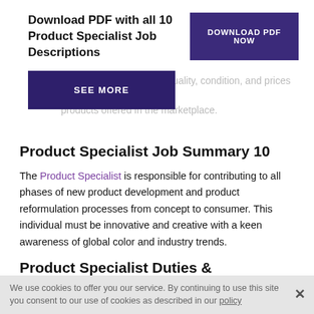Download PDF with all 10 Product Specialist Job Descriptions
[Figure (other): DOWNLOAD PDF NOW button — dark purple rectangle]
Discuss current styles, quality, condition, and prices for products offered in the marketplace.
[Figure (other): SEE MORE button — dark purple rectangle]
Product Specialist Job Summary 10
The Product Specialist is responsible for contributing to all phases of new product development and product reformulation processes from concept to consumer. This individual must be innovative and creative with a keen awareness of global color and industry trends.
Product Specialist Duties & Responsibilities 10
We use cookies to offer you our service. By continuing to use this site you consent to our use of cookies as described in our policy